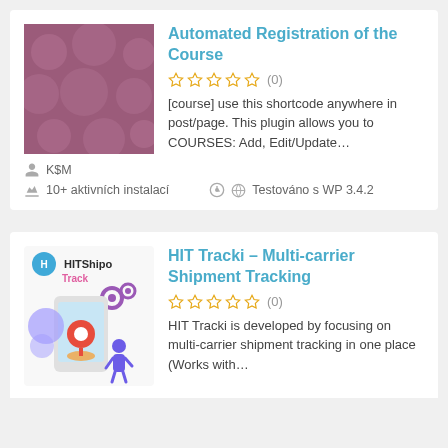[Figure (illustration): Purple background with lighter circle polka dot pattern serving as plugin thumbnail for Automated Registration of the Course]
Automated Registration of the Course
☆☆☆☆☆ (0)
[course] use this shortcode anywhere in post/page. This plugin allows you to COURSES: Add, Edit/Update…
K$M
10+ aktivních instalací
Testováno s WP 3.4.2
[Figure (logo): HITShipo Track logo and illustration showing a smartphone with a map pin location marker, gear icons, and a person, in blue, purple and orange colors]
HIT Tracki – Multi-carrier Shipment Tracking
☆☆☆☆☆ (0)
HIT Tracki is developed by focusing on multi-carrier shipment tracking in one place (Works with…